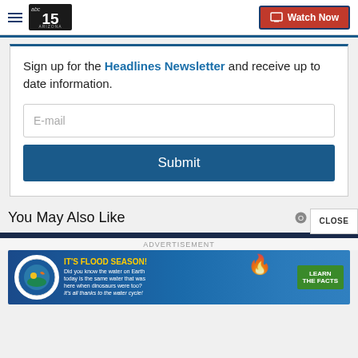ABC 15 Arizona — Watch Now
Sign up for the Headlines Newsletter and receive up to date information.
E-mail
Submit
You May Also Like
ADVERTISEMENT
IT'S FLOOD SEASON! Did you know the water on Earth today is the same water that was here when dinosaurs were too? It's all thanks to the water cycle! LEARN THE FACTS
CLOSE